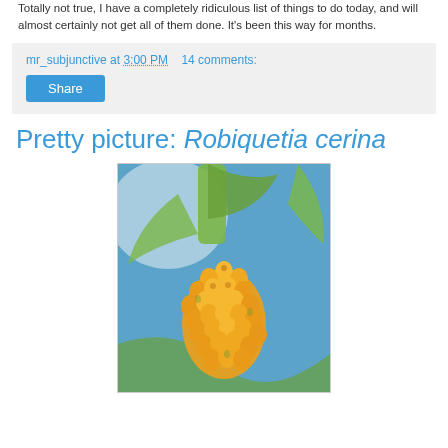Totally not true, I have a completely ridiculous list of things to do today, and will almost certainly not get all of them done. It's been this way for months.
mr_subjunctive at 3:00 PM   14 comments:
Pretty picture: Robiquetia cerina
[Figure (photo): Close-up photograph of Robiquetia cerina orchid flowers, showing dense cluster of small yellow-orange buds/flowers against a blue background with green stem/leaves visible]